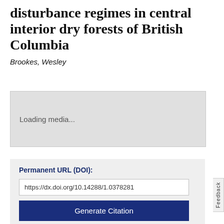disturbance regimes in central interior dry forests of British Columbia
Brookes, Wesley
[Figure (other): Loading media placeholder box with text 'Loading media...']
Permanent URL (DOI):
https://dx.doi.org/10.14288/1.0378281
Generate Citation
Download Metadata